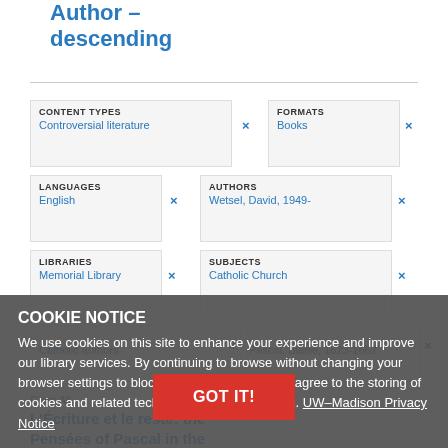Author – descending
CONTENT TYPES
Controversial literature
FORMATS
Books
LANGUAGES
English
AUTHORS
Wetsel, David, 1949-
LIBRARIES
Memorial Library
SUBJECTS
Catholic Church
Catholic authors
Pascal, Blaise, 1623-1662
Clear All
COOKIE NOTICE
We use cookies on this site to enhance your experience and improve our library services. By continuing to browse without changing your browser settings to block or delete cookies, you agree to the storing of cookies and related technologies on your device. UW–Madison Privacy Notice
GOT IT!
L'Écriture et le reste: the Pensées of Pascal in the